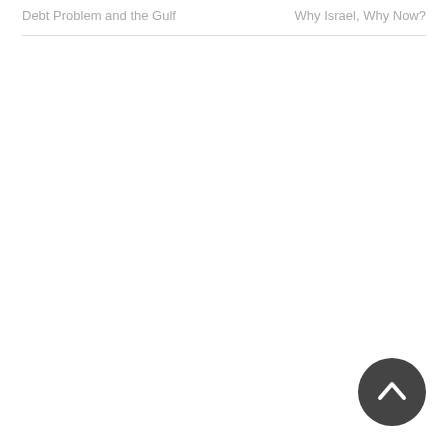Debt Problem and the Gulf
Why Israel, Why Now?
[Figure (other): Scroll-to-top circular button with an upward chevron arrow, dark gray background]